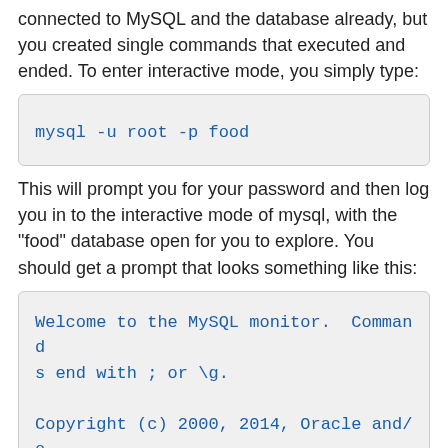connected to MySQL and the database already, but you created single commands that executed and ended. To enter interactive mode, you simply type:
mysql -u root -p food
This will prompt you for your password and then log you in to the interactive mode of mysql, with the "food" database open for you to explore. You should get a prompt that looks something like this:
Welcome to the MySQL monitor.  Commands end with ; or \g.

Copyright (c) 2000, 2014, Oracle and/or its affiliates.